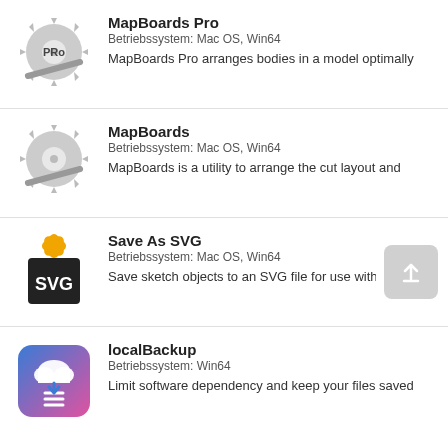[Figure (logo): Circular saw blade with PRO text logo for MapBoards Pro]
MapBoards Pro
Betriebssystem: Mac OS, Win64
MapBoards Pro arranges bodies in a model optimally
[Figure (logo): Circular saw blade logo for MapBoards]
MapBoards
Betriebssystem: Mac OS, Win64
MapBoards is a utility to arrange the cut layout and
[Figure (logo): SVG file format logo with orange decorative top and black/white SVG text]
Save As SVG
Betriebssystem: Mac OS, Win64
Save sketch objects to an SVG file for use with laser,
[Figure (logo): localBackup app icon: blue/pink square with cloud and download arrow]
localBackup
Betriebssystem: Win64
Limit software dependency and keep your files saved